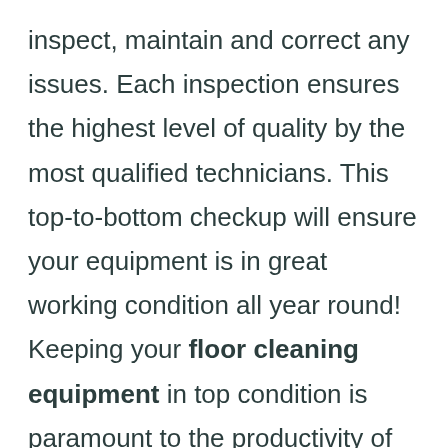inspect, maintain and correct any issues. Each inspection ensures the highest level of quality by the most qualified technicians. This top-to-bottom checkup will ensure your equipment is in great working condition all year round! Keeping your floor cleaning equipment in top condition is paramount to the productivity of your business. Our preventative maintenance plans are designed to prolong the life of your equipment so that you can achieve maximum value and longevity from it. We replace or repair worn parts before they cause a system